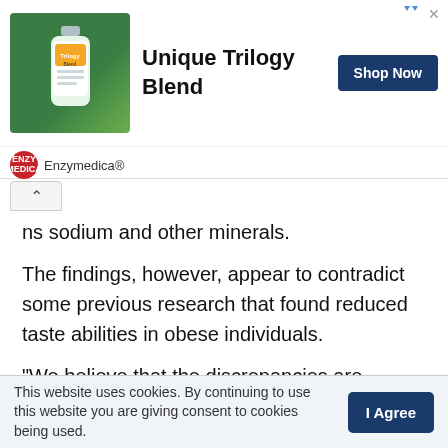[Figure (infographic): Advertisement banner for Enzymedica® showing a product bottle photo, the text 'Unique Trilogy Blend', a 'Shop Now' button, and the Enzymedica® sponsor logo.]
ns sodium and other minerals.
The findings, however, appear to contradict some previous research that found reduced taste abilities in obese individuals.
“We believe that the discrepancies are grounded in methodological but also conceptual differences in measuring taste sensitivity,” the researchers wrote in their study. “Comparisons of taste perception in lean and obese groups have also continually suffered from the drawback of
This website uses cookies. By continuing to use this website you are giving consent to cookies being used.